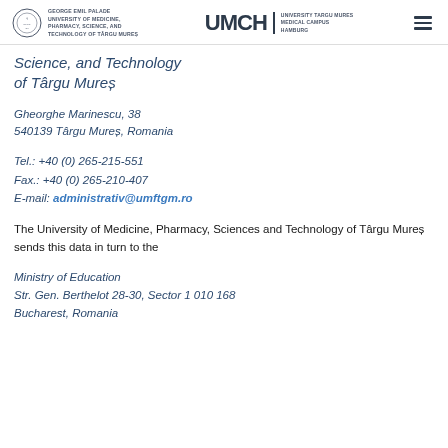George Emil Palade University of Medicine, Pharmacy, Science, and Technology of Târgu Mureș | UMCH University Targu Mures Medical Campus Hamburg
Science, and Technology of Târgu Mureș
Gheorghe Marinescu, 38
540139 Târgu Mureș, Romania
Tel.: +40 (0) 265-215-551
Fax.: +40 (0) 265-210-407
E-mail: administrativ@umftgm.ro
The University of Medicine, Pharmacy, Sciences and Technology of Târgu Mureș sends this data in turn to the
Ministry of Education
Str. Gen. Berthelot 28-30, Sector 1 010 168
Bucharest, Romania